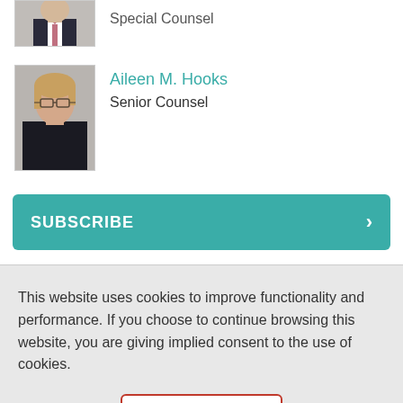[Figure (photo): Cropped photo of a man in a suit with a pink tie (Special Counsel), partially visible at top]
[Figure (photo): Photo of Aileen M. Hooks, a woman with short blonde hair and glasses, wearing a dark jacket]
Aileen M. Hooks
Senior Counsel
SUBSCRIBE
This website uses cookies to improve functionality and performance. If you choose to continue browsing this website, you are giving implied consent to the use of cookies.
Accept